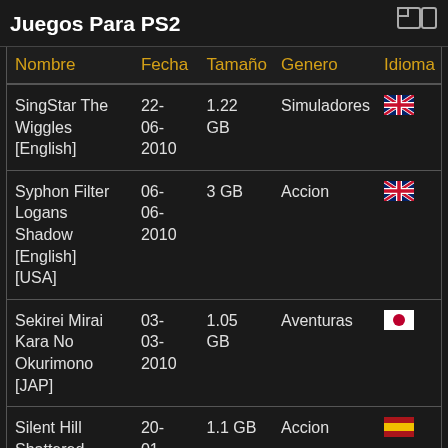Juegos Para PS2
| Nombre | Fecha | Tamaño | Genero | Idioma |
| --- | --- | --- | --- | --- |
| SingStar The Wiggles [English] | 22-06-2010 | 1.22 GB | Simuladores | 🇬🇧 |
| Syphon Filter Logans Shadow [English] [USA] | 06-06-2010 | 3 GB | Accion | 🇬🇧 |
| Sekirei Mirai Kara No Okurimono [JAP] | 03-03-2010 | 1.05 GB | Aventuras | 🇯🇵 |
| Silent Hill Shattered | 20-01- | 1.1 GB | Accion | 🇪🇸 |